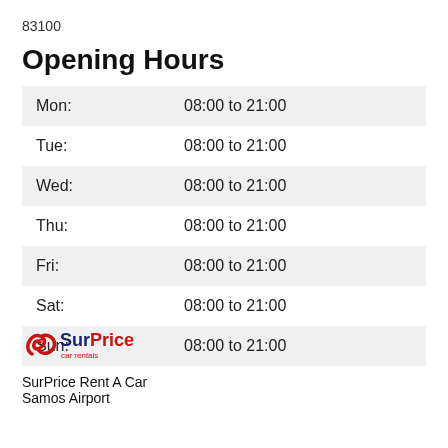83100
Opening Hours
| Mon: | 08:00 to 21:00 |
| Tue: | 08:00 to 21:00 |
| Wed: | 08:00 to 21:00 |
| Thu: | 08:00 to 21:00 |
| Fri: | 08:00 to 21:00 |
| Sat: | 08:00 to 21:00 |
| Sun: | 08:00 to 21:00 |
[Figure (logo): SurPrice car rentals logo with red stylized S and blue text]
SurPrice Rent A Car
Samos Airport